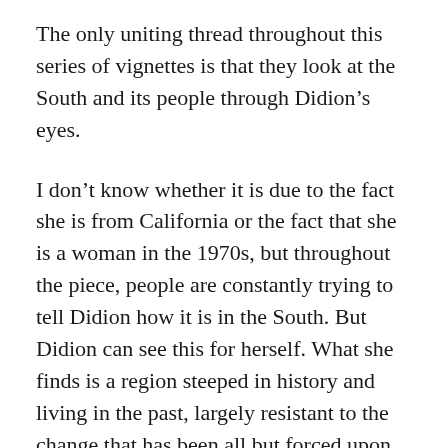The only uniting thread throughout this series of vignettes is that they look at the South and its people through Didion’s eyes.
I don’t know whether it is due to the fact she is from California or the fact that she is a woman in the 1970s, but throughout the piece, people are constantly trying to tell Didion how it is in the South. But Didion can see this for herself. What she finds is a region steeped in history and living in the past, largely resistant to the change that has been all but forced upon it, but is nevertheless slowly being dragged along by it. While I did not particularly enjoy the book due to its draft-like nature and unfamiliar allusions, I would offer a tentative